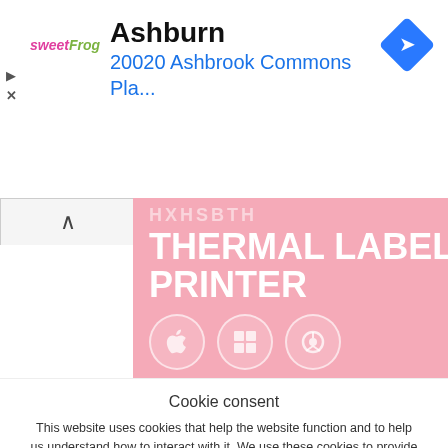[Figure (screenshot): Advertisement banner for sweetFrog showing location in Ashburn at 20020 Ashbrook Commons Pla... with a blue navigation diamond icon, play and close control buttons]
[Figure (screenshot): Pink product image for Thermal Label Printer with partially visible model text at top, bold white text reading THERMAL LABEL PRINTER, and three circular OS/browser icons (Apple, Windows, Chrome)]
Cookie consent
This website uses cookies that help the website function and to help us understand how to interact with it. We use these cookies to provide you with improved and customized user-experience. If you continue to the use of the website, we assume that you are okay with it. More